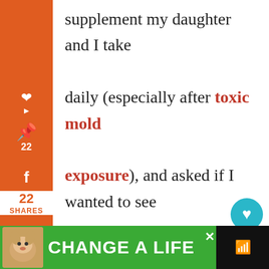supplement my daughter and I take daily (especially after toxic mold exposure), and asked if I wanted to see visible proof that it worked to protect the body from EMF exposure.
[Figure (screenshot): Social media sharing sidebar with Pinterest (22 shares), Facebook, Twitter, Yummly, email, and print icons on an orange background. Right side shows heart button (teal, 24) and share button. Below is a tropical welcome scene with palm trees and a 'Welcome' sign. A 'What's Next' box shows '6 Easy Ways To Protect...' article. Bottom shows a green 'CHANGE A LIFE' advertisement bar with a dog image.]
WHAT'S NEXT → 6 Easy Ways To Protect...